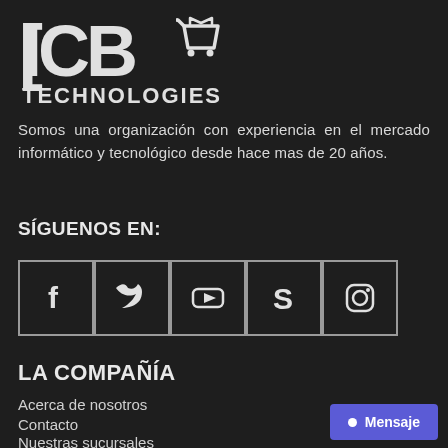[Figure (logo): ICB Technologies logo with shopping cart icon]
Somos una organización con experiencia en el mercado informático y tecnológico desde hace mas de 20 años.
SÍGUENOS EN:
[Figure (infographic): Social media icons: Facebook, Twitter, YouTube, Skype, Instagram — each in a bordered square box]
LA COMPAÑÍA
Acerca de nosotros
Contacto
Nuestras sucursales
Mensaje